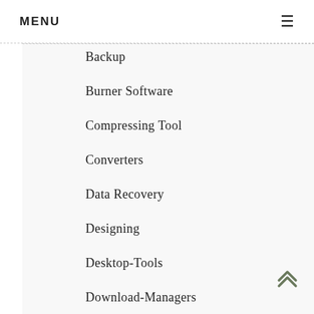MENU
Backup
Burner Software
Compressing Tool
Converters
Data Recovery
Designing
Desktop-Tools
Download-Managers
Dri…